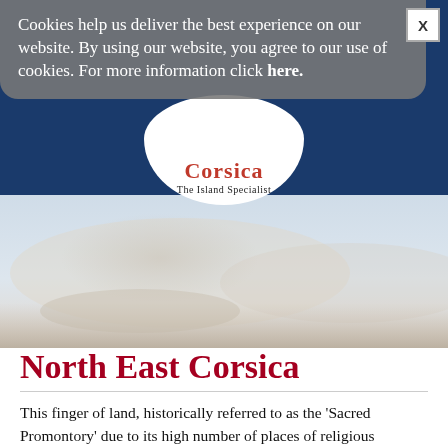Cookies help us deliver the best experience on our website. By using our website, you agree to our use of cookies. For more information click here.
[Figure (logo): Corsica The Island Specialist logo — red script text on white oval background over dark blue header bar]
[Figure (photo): Faded landscape photograph showing a coastal or mountain scene in North East Corsica with pale blue sky and sandy/rocky terrain]
North East Corsica
This finger of land, historically referred to as the 'Sacred Promontory' due to its high number of places of religious worship, points northwards into the Tyrrhenian Sea, with St Florent and Bastia at its western and eastern bases respectively.